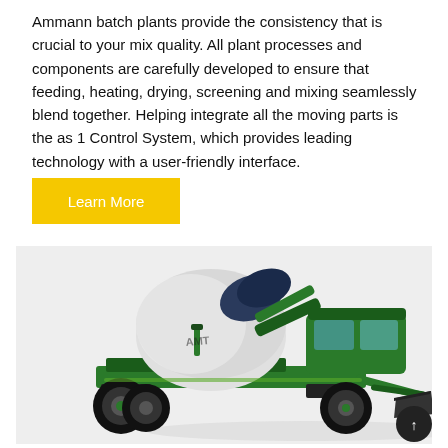Ammann batch plants provide the consistency that is crucial to your mix quality. All plant processes and components are carefully developed to ensure that feeding, heating, drying, screening and mixing seamlessly blend together. Helping integrate all the moving parts is the as 1 Control System, which provides leading technology with a user-friendly interface.
Learn More
[Figure (photo): Green self-loading concrete mixer truck with a large rotating drum, cab, front bucket loader attachment, and large black tires, photographed against a light grey background.]